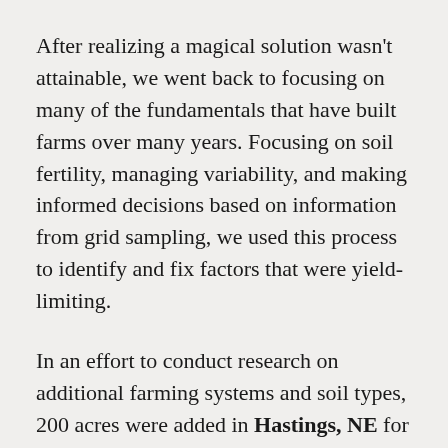After realizing a magical solution wasn't attainable, we went back to focusing on many of the fundamentals that have built farms over many years. Focusing on soil fertility, managing variability, and making informed decisions based on information from grid sampling, we used this process to identify and fix factors that were yield-limiting.
In an effort to conduct research on additional farming systems and soil types, 200 acres were added in Hastings, NE for the 2018 growing season. Again, we learned that it would take time to achieve the goals we set on this farm. The previous year, we were left the gift of volunteer corn and weed management issues. Fertility was once again a challenge, with low pH levels in our dryland and implementing management practices for furrow